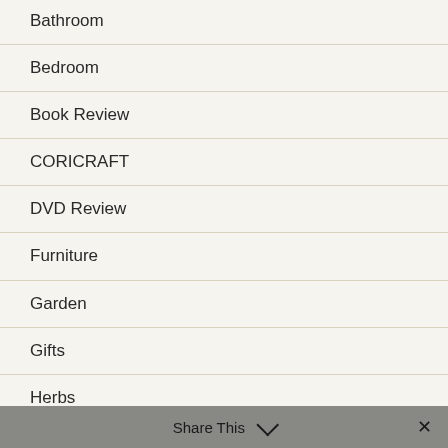Bathroom
Bedroom
Book Review
CORICRAFT
DVD Review
Furniture
Garden
Gifts
Herbs
Home Care Tips
Home Improvement Tips
Share This ∨  ✕